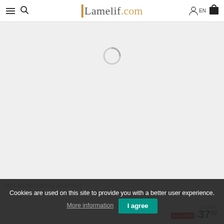Lamelif.com
[Figure (screenshot): Loading spinner on grey background product page]
Cookies are used on this site to provide you with a better user experience. More information I agree